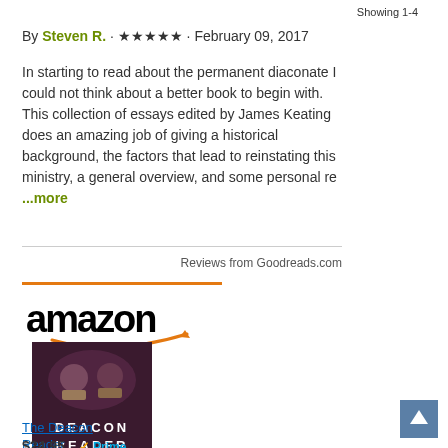Showing 1-4
By Steven R. · ★★★★★ · February 09, 2017
In starting to read about the permanent diaconate I could not think about a better book to begin with. This collection of essays edited by James Keating does an amazing job of giving a historical background, the factors that lead to reinstating this ministry, a general overview, and some personal re ...more
Reviews from Goodreads.com
[Figure (logo): Amazon logo with orange underline bar and smile arrow]
[Figure (illustration): Book cover for The Deacon Reader, dark maroon background with stylized figures and text DEACON READER by James Keating]
The Deacon Reader
$24.95  ✓Prime